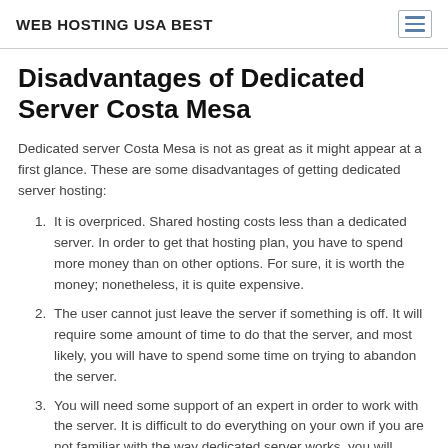WEB HOSTING USA BEST
Disadvantages of Dedicated Server Costa Mesa
Dedicated server Costa Mesa is not as great as it might appear at a first glance. These are some disadvantages of getting dedicated server hosting:
It is overpriced. Shared hosting costs less than a dedicated server. In order to get that hosting plan, you have to spend more money than on other options. For sure, it is worth the money; nonetheless, it is quite expensive.
The user cannot just leave the server if something is off. It will require some amount of time to do that the server, and most likely, you will have to spend some time on trying to abandon the server.
You will need some support of an expert in order to work with the server. It is difficult to do everything on your own if you are not familiar with the way dedicated server works, you will